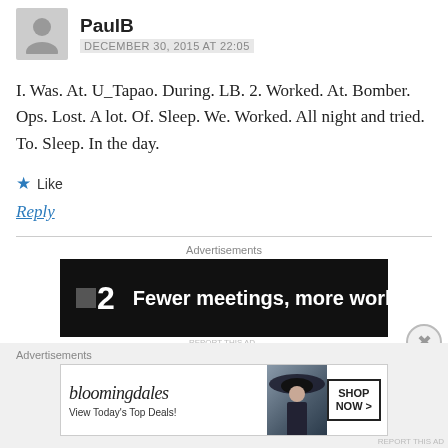[Figure (other): User avatar placeholder icon (grey silhouette)]
PaulB
DECEMBER 30, 2015 AT 22:05
I. Was. At. U_Tapao. During. LB. 2. Worked. At. Bomber. Ops. Lost. A lot. Of. Sleep. We. Worked. All night and tried. To. Sleep. In the day.
★ Like
Reply
Advertisements
[Figure (screenshot): Advertisement banner: dark background with logo '■2' and text 'Fewer meetings, more work.']
REPORT THIS AD
Advertisements
[Figure (screenshot): Bloomingdale's advertisement banner with woman wearing hat, text 'bloomingdales', 'View Today's Top Deals!' and 'SHOP NOW >' button]